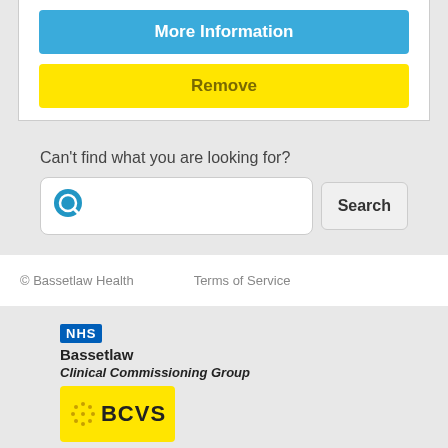[Figure (screenshot): Blue button labeled 'More Information']
[Figure (screenshot): Yellow button labeled 'Remove']
Can't find what you are looking for?
[Figure (screenshot): Search box with magnifying glass icon and Search button]
© Bassetlaw Health    Terms of Service
[Figure (logo): NHS Bassetlaw Clinical Commissioning Group logo]
[Figure (logo): BCVS logo on yellow background]